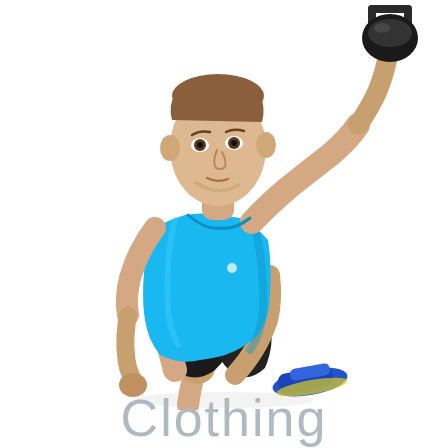[Figure (photo): A fit young man in a blue sleeveless athletic tank top and dark shorts, performing a kettlebell overhead press lunge exercise. He is in a kneeling lunge position with his right arm raised high holding a black kettlebell, and is wearing blue athletic shoes. The background is white.]
Clothing